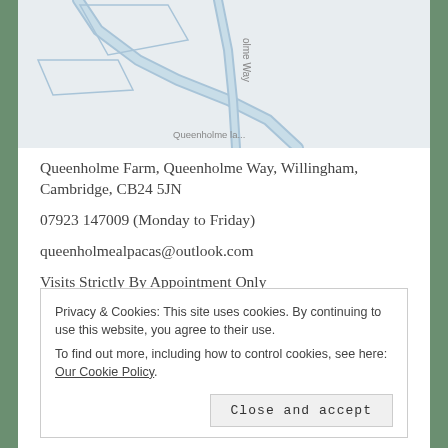[Figure (map): Partial street map showing Queenholme Way and Queenholme Lane intersection area]
Queenholme Farm, Queenholme Way, Willingham, Cambridge, CB24 5JN
07923 147009 (Monday to Friday)
queenholmealpacas@outlook.com
Visits Strictly By Appointment Only
- ©2022 Queenholme Alpacas -
Privacy & Cookies: This site uses cookies. By continuing to use this website, you agree to their use.
To find out more, including how to control cookies, see here: Our Cookie Policy.